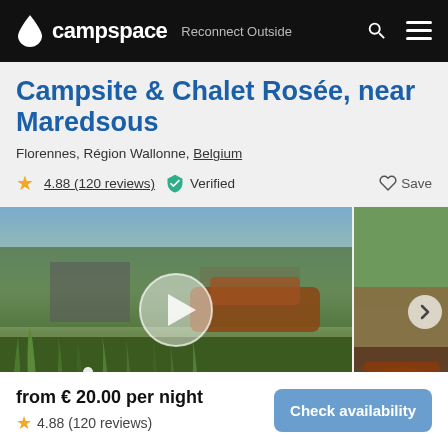campspace Reconnect Outside
Campsite & Chalet Rosée, near Maredsous
Florennes, Région Wallonne, Belgium
4.88 (120 reviews)   Verified   Save
[Figure (photo): Outdoor campsite photo showing overgrown grass with rustic old car and building in background, with a video play button overlay. A second partial photo visible on the right.]
from € 20.00 per night
4.88 (120 reviews)
Check availability